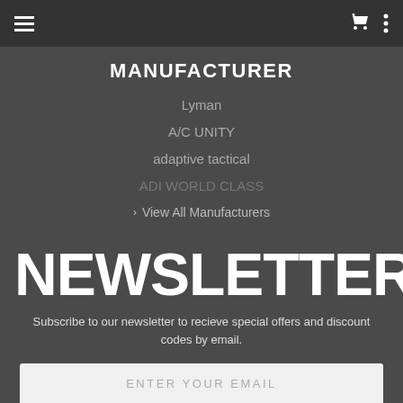Navigation bar with hamburger menu, cart icon, and options icon
MANUFACTURER
Lyman
A/C UNITY
adaptive tactical
ADI WORLD CLASS
> View All Manufacturers
NEWSLETTER
Subscribe to our newsletter to recieve special offers and discount codes by email.
ENTER YOUR EMAIL